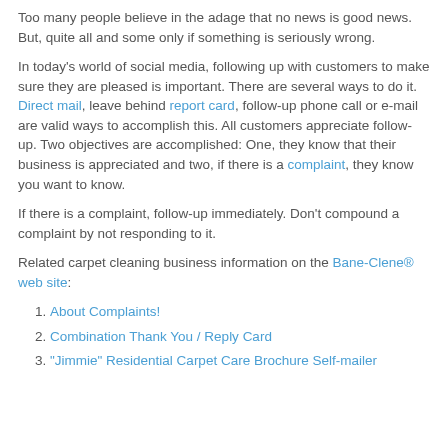Too many people believe in the adage that no news is good news. But, quite all and some only if something is seriously wrong.
In today's world of social media, following up with customers to make sure they are pleased is important. There are several ways to do it. Direct mail, leave behind report card, follow-up phone call or e-mail are valid ways to accomplish this. All customers appreciate follow-up. Two objectives are accomplished: One, they know that their business is appreciated and two, if there is a complaint, they know you want to know.
If there is a complaint, follow-up immediately. Don't compound a complaint by not responding to it.
Related carpet cleaning business information on the Bane-Clene® web site:
1. About Complaints!
2. Combination Thank You / Reply Card
3. "Jimmie" Residential Carpet Care Brochure Self-mailer